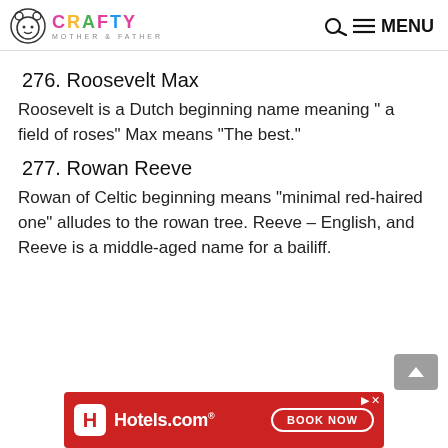CRAFTY MOTHER + FATHER — MENU
276. Roosevelt Max
Roosevelt is a Dutch beginning name meaning " a field of roses" Max means “The best.”
277. Rowan Reeve
Rowan of Celtic beginning means “minimal red-haired one” alludes to the rowan tree. Reeve – English, and Reeve is a middle-aged name for a bailiff.
[Figure (infographic): Hotels.com advertisement banner with red background, Hotels.com logo and BOOK NOW button]